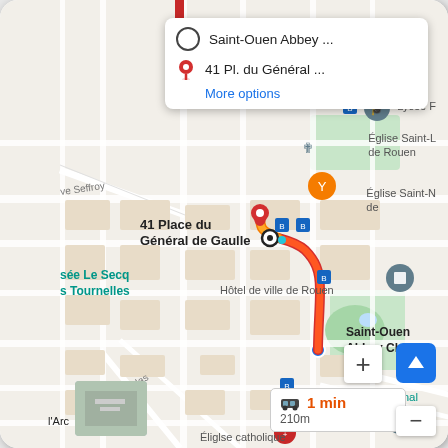[Figure (screenshot): Google Maps screenshot showing a route in Rouen, France from Saint-Ouen Abbey Church to 41 Place du Général de Gaulle, with a popup panel showing the two locations and 'More options' link, a route line highlighted in orange/red, and a duration box showing '1 min / 210m'. Map labels include Lycée F, Église Saint-L de Rouen, Église Saint-N de, Éliglse Saint-N de, Musée Le Secq Tournelles, Hôtel de ville de Rouen, Saint-Ouen Abbey Church, Musée National de l'Éducation, Rue Saint-Nicolas, Rue d'Amiens, l'Arc, Éliglse catholique.]